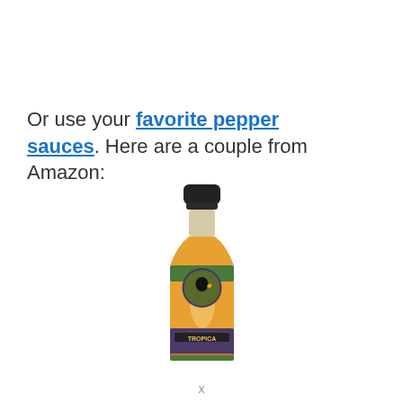Or use your favorite pepper sauces. Here are a couple from Amazon:
[Figure (photo): A bottle of Tropica Pepper Co. hot sauce with an orange/red sauce visible through the bottle, green and purple label, black cap.]
x